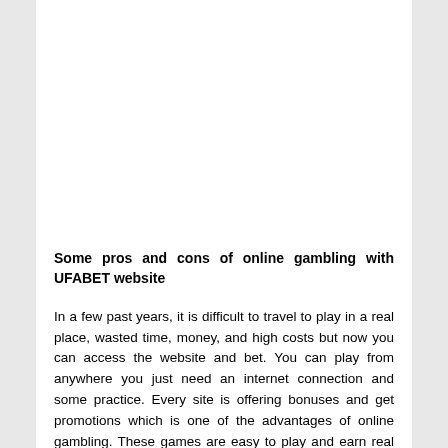Some pros and cons of online gambling with UFABET website
In a few past years, it is difficult to travel to play in a real place, wasted time, money, and high costs but now you can access the website and bet. You can play from anywhere you just need an internet connection and some practice. Every site is offering bonuses and get promotions which is one of the advantages of online gambling. These games are easy to play and earn real money too.